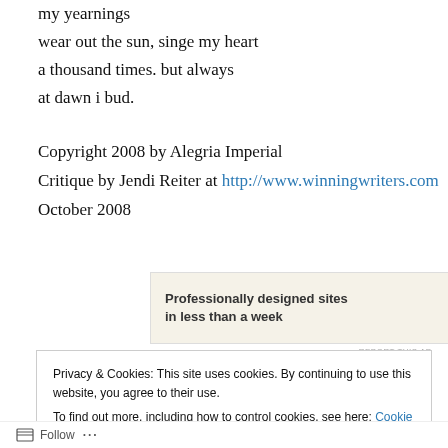my yearnings
wear out the sun, singe my heart
a thousand times. but always
at dawn i bud.
Copyright 2008 by Alegria Imperial
Critique by Jendi Reiter at http://www.winningwriters.com
October 2008
[Figure (other): WordPress advertisement banner: 'Professionally designed sites in less than a week' with WordPress logo]
REPORT THIS AD
Privacy & Cookies: This site uses cookies. By continuing to use this website, you agree to their use.
To find out more, including how to control cookies, see here: Cookie Policy
[Close and accept button]
Follow ...